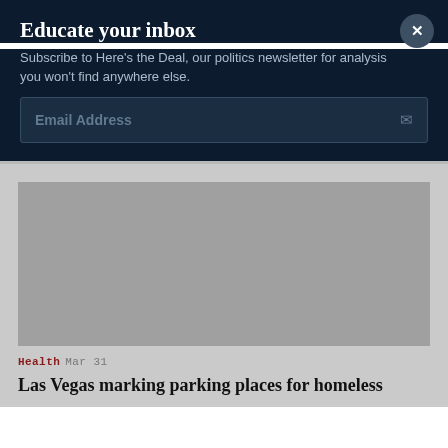Educate your inbox
Subscribe to Here's the Deal, our politics newsletter for analysis you won't find anywhere else.
Email Address
[Figure (photo): Gray placeholder image area for an article thumbnail]
Health Mar 31
Las Vegas marking parking places for homeless